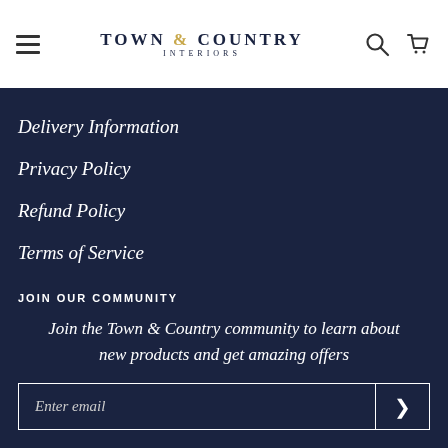Town & Country Interiors — navigation header with logo, hamburger menu, search and cart icons
Delivery Information
Privacy Policy
Refund Policy
Terms of Service
JOIN OUR COMMUNITY
Join the Town & Country community to learn about new products and get amazing offers
Enter email